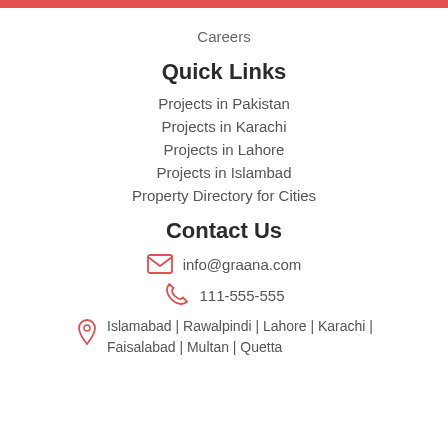Careers
Quick Links
Projects in Pakistan
Projects in Karachi
Projects in Lahore
Projects in Islambad
Property Directory for Cities
Contact Us
info@graana.com
111-555-555
Islamabad | Rawalpindi | Lahore | Karachi | Faisalabad | Multan | Quetta